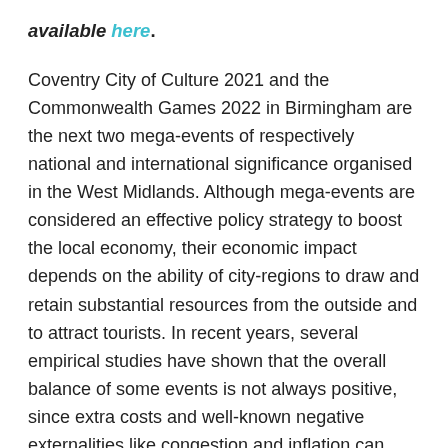available here.
Coventry City of Culture 2021 and the Commonwealth Games 2022 in Birmingham are the next two mega-events of respectively national and international significance organised in the West Midlands. Although mega-events are considered an effective policy strategy to boost the local economy, their economic impact depends on the ability of city-regions to draw and retain substantial resources from the outside and to attract tourists. In recent years, several empirical studies have shown that the overall balance of some events is not always positive, since extra costs and well-known negative externalities like congestion and inflation can outweigh the benefits. Impact evaluation of events – be they cultural, sport or trade – is a complex exercise in relation both to the multi-dimensional nature of the monitored activities and to the objectives of such measurement. A robust